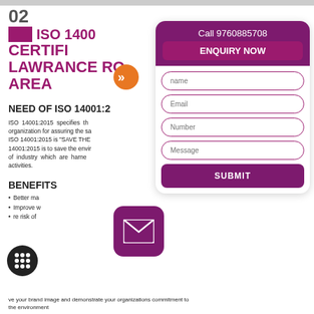02  ISO 14001 CERTIFICATION LAWRANCE ROAD AREA
NEED OF ISO 14001:2
ISO 14001:2015 specifies the requirements for an environmental management system that an organization can use to enhance its environmental performance. ISO 14001:2015 is "SAVE THE ENVIRONMENT" standard. The main purpose of ISO 14001:2015 is to save the environment from the pollution which is generated by the activities of industry which are harnessing the environment through their manufacturing activities.
BENEFITS
Better management
Improve work
Reduce risk of
Improve your brand image and demonstrate your organizations commitment to the environment
[Figure (infographic): Enquiry form panel with purple header showing 'Call 9760885708' and 'ENQUIRY NOW' button, plus input fields for name, email, number, message and a SUBMIT button]
[Figure (infographic): Purple rounded square mail envelope icon]
[Figure (infographic): Black circle with grid/dots icon]
[Figure (infographic): Orange circle with double right arrow]